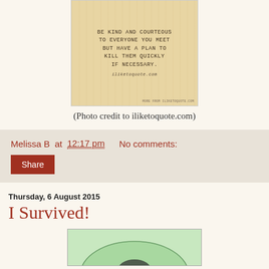[Figure (illustration): A wood-grain textured quote image with text: 'BE KIND AND COURTEOUS TO EVERYONE YOU MEET BUT HAVE A PLAN TO KILL THEM QUICKLY IF NECESSARY.' with 'iliketoquote.com' watermark and footer 'MORE FROM ILIKETOQUOTE.COM']
(Photo credit to iliketoquote.com)
Melissa B at 12:17 pm   No comments:
Share
Thursday, 6 August 2015
I Survived!
[Figure (illustration): Partial view of a cartoon/illustration with a green rounded shape at the bottom of the page]